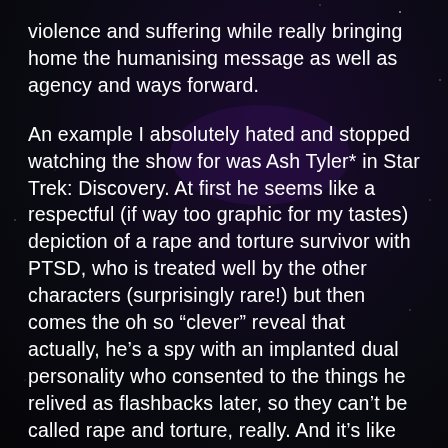violence and suffering while really bringing home the humanising message as well as agency and ways forward.
An example I absolutely hated and stopped watching the show for was Ash Tyler* in Star Trek: Discovery. At first he seems like a respectful (if way too graphic for my tastes) depiction of a rape and torture survivor with PTSD, who is treated well by the other characters (surprisingly rare!) but then comes the oh so “clever” reveal that actually, he’s a spy with an implanted dual personality who consented to the things he relived as flashbacks later, so they can’t be called rape and torture, really. And it’s like wtf. Now you’re having a victim blaming AND ableist storyline that depicts rape/torture